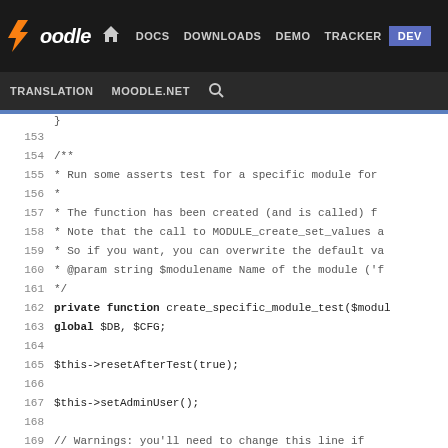Moodle DEV — DOCS DOWNLOADS DEMO TRACKER DEV | TRANSLATION MOODLE.NET
Code view lines 153–178: PHP source code for create_specific_module_test function in Moodle